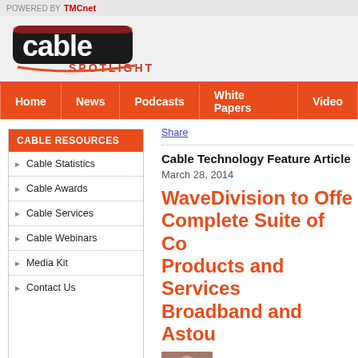POWERED BY TMCnet
[Figure (logo): Cable Spotlight logo with stylized cable text and spotlight subheading]
Home | News | Podcasts | White Papers | Video
CABLE RESOURCES
Cable Statistics
Cable Awards
Cable Services
Cable Webinars
Media Kit
Contact Us
Share
Cable Technology Feature Article
March 28, 2014
WaveDivision to Offer Complete Suite of Co Products and Services Broadband and Astou
[Figure (photo): Small thumbnail photo of a person]